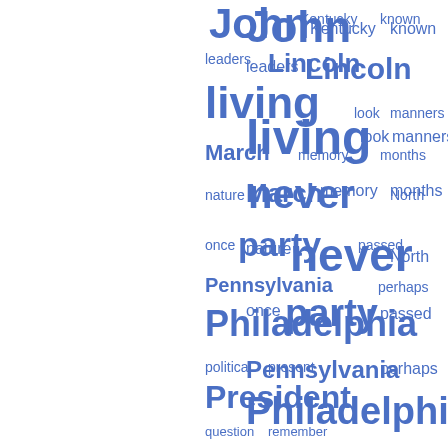[Figure (infographic): Word cloud featuring political and historical terms in varying font sizes in blue. Larger words include: John, living, never, party, Philadelphia, President, Senator, South. Smaller words include: Kentucky, known, leaders, Lincoln, look, manners, March, memory, months, nature, North, once, passed, Pennsylvania, perhaps, political, present, question, remember, Representative, Republican, Secretary, seemed, sent, side, slave, slavery, soon, speech, story, Street, thing, thought.]